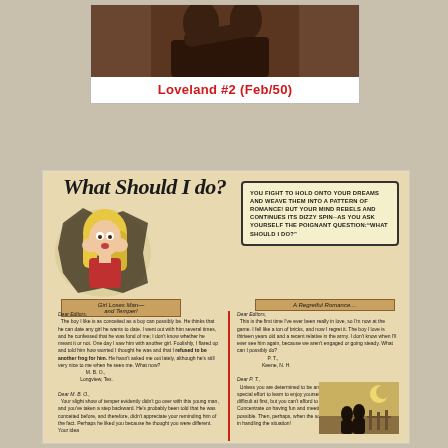[Figure (photo): Top portion of a vintage romance comic book cover showing two people embracing, partially cropped]
Loveland #2 (Feb/50)
[Figure (illustration): Vintage romance comic page titled 'What Should I do?' featuring a distressed blonde woman, a speech bubble with text about fighting to hold onto dreams, and two advice columns with letters from readers. Left column headed 'Girl Loses Man—and Temper!' and right column 'A Regretful Romance...']
YOU FIGHT TO HOLD ONTO YOUR DREAMS AND WEAVE THEM INTO A PATTERN OF ROMANCE! BUT YOUR MIND REBELS AND CONTINUES ITS DIZZY SPIN--AS YOU ASK YOURSELF THE POIGNANT QUESTION:"WHAT SHOULD I DO?"
Girl Loses Man—and Temper!
A Regretful Romance....
Dear Editors, The boy I like is as conceited as a boy can possibly be. He thinks that he can date any girl he wants to date. I went out with him several times, and he confessed that he was fond of me; I don't know whether he meant it or not. One day I saw him with another girl. Foolishly, I flared up and told him how worried I thought he was and that I refused to be another frog for him. He hasn't asked me out lately, although he's still very nice to me when he sees me. What now? M. B. O., Longview, Tex.
Dear M. B. O., Your slight show of temper evidently didn't go over with this young man, and you've taken a step backward. He's probably been told that he was conceited before, and therefore, didn't appreciate your reminding him of the fact. Perhaps he liked you because he thought you were different. Your idea
Dear Editors, This is the first time I've ever been really in love, so I'm now at the game. I fell like a ton of bricks, and now I regret it. The boy I love is thirteen years old and a recent relative in the army. I don't know when I'll ever see him again, because we aren't engaged or going steady. What can I possibly do? P. T., Keene, N. H.
Dear P. T., Unless you are determined to be an old maid, you should make a special effort to learn to enjoy yourself without this young man. It will be difficult at first, but you can't afford to even grieve over a first love. Concentrate on having fun and meeting as many different boys as possible. Then, perhaps, when the soldier returns, you'll be more expert in handling the situation!